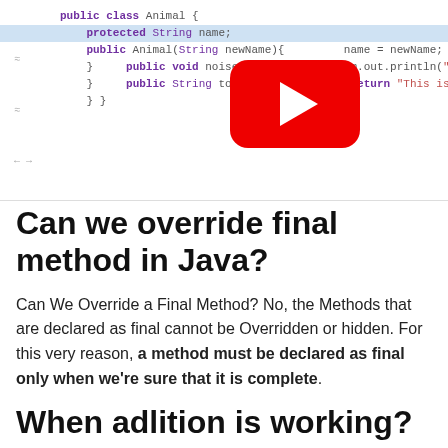[Figure (screenshot): Code editor screenshot showing Java Animal class with highlighted line 'protected String name;', with a YouTube play button overlay]
Can we override final method in Java?
Can We Override a Final Method? No, the Methods that are declared as final cannot be Overridden or hidden. For this very reason, a method must be declared as final only when we're sure that it is complete.
When adlition is working?